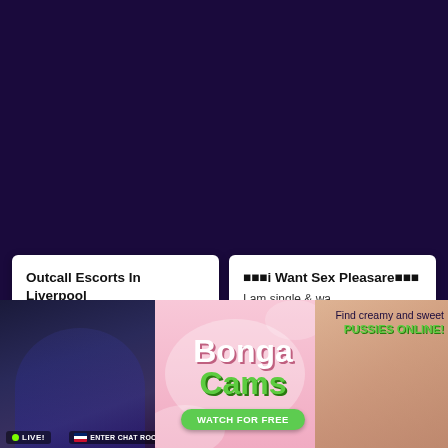[Figure (screenshot): Dark purple background covering top portion of page]
Outcall Escorts In Liverpool
Are you planning to ...
23 år | Britisk
🔲🔲🔲i Want Sex Pleasare🔲🔲🔲
I am single & wa...
25 år | Armensk
[Figure (advertisement): BongaCams banner ad with live cam model photos, BongaCams logo, Watch For Free button, Find creamy and sweet PUSSIES ONLINE text]